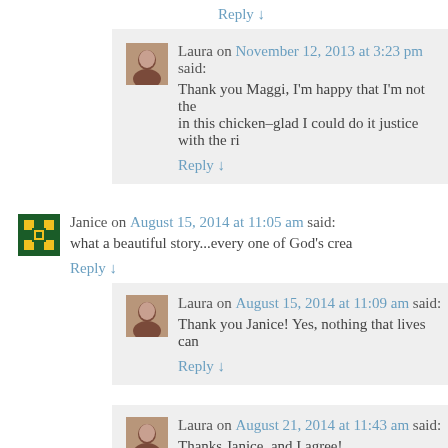Reply ↓
Laura on November 12, 2013 at 3:23 pm said: Thank you Maggi, I'm happy that I'm not the in this chicken–glad I could do it justice with the ri
Reply ↓
Janice on August 15, 2014 at 11:05 am said: what a beautiful story...every one of God's crea
Reply ↓
Laura on August 15, 2014 at 11:09 am said: Thank you Janice! Yes, nothing that lives can
Reply ↓
Laura on August 21, 2014 at 11:43 am said: Thanks Janice, and I agree!